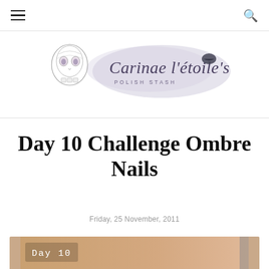☰  🔍
[Figure (logo): Carinae l'étoile's Polish Stash blog logo with a decorative sugar skull on the left and stylized script text on a watercolor wash background with a lipstick kiss mark.]
Day 10 Challenge Ombre Nails
Friday, 25 November, 2011
[Figure (photo): Bottom partial photo strip showing 'Day 10' text label on a nail art image.]